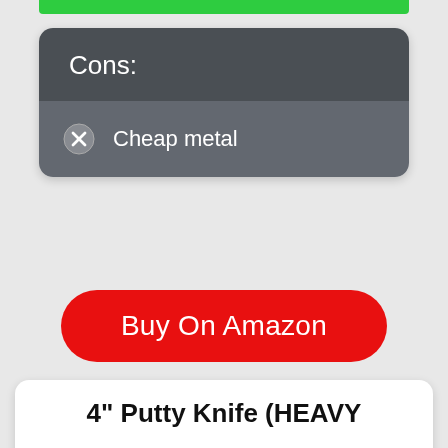Cons:
Cheap metal
Buy On Amazon
4" Putty Knife (HEAVY